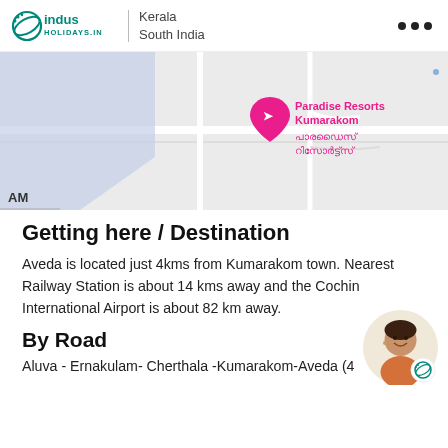Indus Holidays | Kerala South India
[Figure (map): Google Maps screenshot showing Paradise Resorts Kumarakom location with a red map pin and Malayalam text label. A blue shaded area is visible on the left. Text 'AM' appears at the bottom left.]
Getting here / Destination
Aveda is located just 4kms from Kumarakom town. Nearest Railway Station is about 14 kms away and the Cochin International Airport is about 82 km away.
By Road
Aluva - Ernakulam- Cherthala -Kumarakom-Aveda (4
[Figure (photo): Circular avatar photo of a smiling woman with an Indus Holidays logo badge overlay at the bottom right of the circle.]